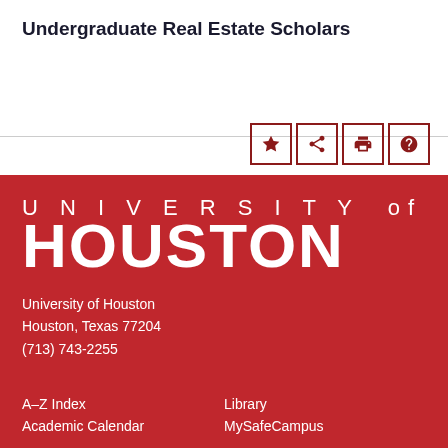Undergraduate Real Estate Scholars
[Figure (screenshot): Icon toolbar with star (bookmark), share, print, and help/question mark icons, each in a bordered box with dark red color]
[Figure (logo): University of Houston logo: white text 'UNIVERSITY of' in spaced capitals above bold white 'HOUSTON' text on red background]
University of Houston
Houston, Texas 77204
(713) 743-2255
A–Z Index
Academic Calendar
Library
MySafeCampus